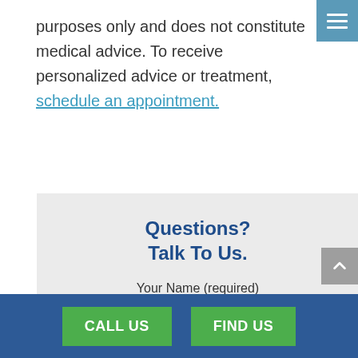purposes only and does not constitute medical advice. To receive personalized advice or treatment, schedule an appointment.
Questions? Talk To Us.
Your Name (required)
CALL US   FIND US